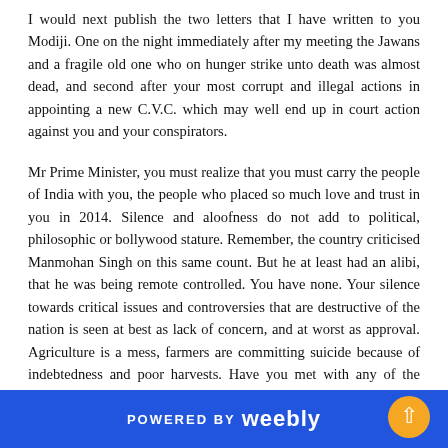I would next publish the two letters that I have written to you Modiji. One on the night immediately after my meeting the Jawans and a fragile old one who on hunger strike unto death was almost dead, and second after your most corrupt and illegal actions in appointing a new C.V.C. which may well end up in court action against you and your conspirators.
Mr Prime Minister, you must realize that you must carry the people of India with you, the people who placed so much love and trust in you in 2014. Silence and aloofness do not add to political, philosophic or bollywood stature. Remember, the country criticised Manmohan Singh on this same count. But he at least had an alibi, that he was being remote controlled. You have none. Your silence towards critical issues and controversies that are destructive of the nation is seen at best as lack of concern, and at worst as approval. Agriculture is a mess, farmers are committing suicide because of indebtedness and poor harvests. Have you met with any of the Chief Ministers regarding this or visited any rural areas to talk to farmers? No wonder, the perception is growing that you are only a friend of...
POWERED BY weebly